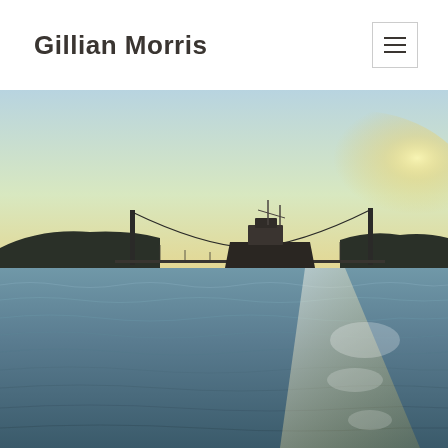Gillian Morris
[Figure (photo): A scenic waterway (likely the Bosphorus Strait) at sunset. A large cargo ship is silhouetted in the center, passing under a suspension bridge. The sky glows with warm golden and pale blue tones. The foreground shows choppy water with sunlight reflecting off the surface. Hills and shoreline are visible in the background.]